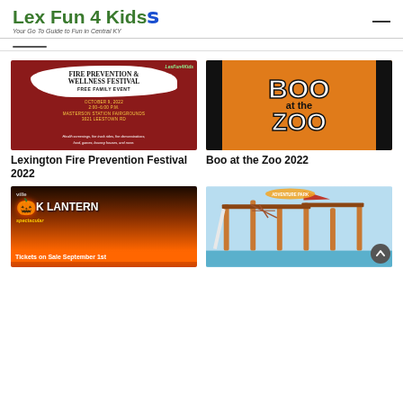Lex Fun 4 Kids — Your Go To Guide to Fun in Central KY
[Figure (photo): Fire Prevention & Wellness Festival event flyer on dark red background. Text: FIRE PREVENTION & WELLNESS FESTIVAL, FREE FAMILY EVENT, OCTOBER 9, 2022, 2:00-6:00 PM, MASTERSON STATION FAIRGROUNDS, 3021 LEESTOWN RD. Health screenings, fire truck rides, fire demonstrations, food, games, bouncy houses, and more.]
[Figure (photo): Orange and black Boo at the Zoo graphic with large white bold text reading BOO at the ZOO on orange background with black vertical bars on sides.]
Lexington Fire Prevention Festival 2022
Boo at the Zoo 2022
[Figure (photo): Jack-o-lantern spectacular event promotional image showing glowing pumpkin on dark background with text: ville, Jack-O-Lantern Spectacular, Tickets on Sale September 1st]
[Figure (photo): Colorful outdoor pirate-themed playground structure on blue background with various play elements and a scroll-up button overlay.]